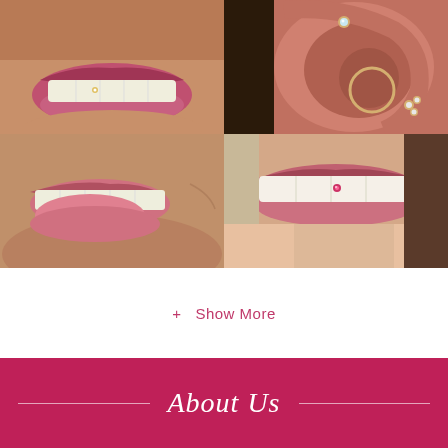[Figure (photo): 2x2 grid of four close-up photos: top-left shows a smiling mouth with a tooth gem/piercing, top-right shows a close-up of an ear with multiple cartilage piercings and a hoop earring, bottom-left shows a smiling mouth profile, bottom-right shows a smiling mouth with a tooth gem/piercing on the front tooth]
+ Show More
About Us